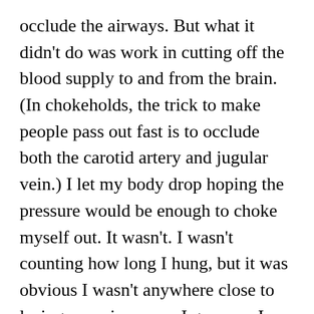occlude the airways. But what it didn't do was work in cutting off the blood supply to and from the brain. (In chokeholds, the trick to make people pass out fast is to occlude both the carotid artery and jugular vein.) I let my body drop hoping the pressure would be enough to choke myself out. It wasn't. I wasn't counting how long I hung, but it was obvious I wasn't anywhere close to losing consciousness. I gave up. I cried in the bathtub with noose around my neck.
I had bruising around my neck and hurt to swallow for several days. I didn't even try to